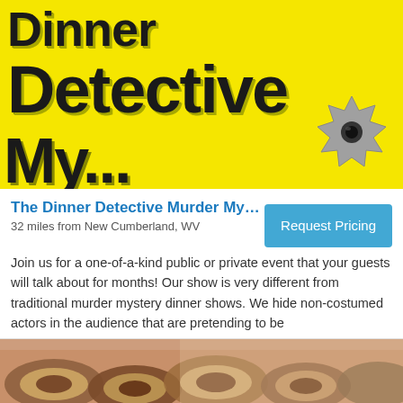[Figure (illustration): The Dinner Detective Murder Mystery show banner with large bold black text on bright yellow background reading 'Dinner Detective' with a bullet hole graphic in the lower right, and partial 'My...' text at the bottom.]
The Dinner Detective Murder Mystery Dinner Sh...
32 miles from New Cumberland, WV
Request Pricing
Join us for a one-of-a-kind public or private event that your guests will talk about for months! Our show is very different from traditional murder mystery dinner shows. We hide non-costumed actors in the audience that are pretending to be
[Figure (photo): Bottom portion of page showing a photo of pretzels or donuts on a wooden surface, partially visible.]